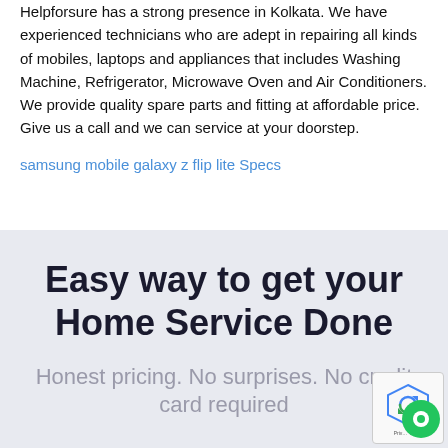Helpforsure has a strong presence in Kolkata. We have experienced technicians who are adept in repairing all kinds of mobiles, laptops and appliances that includes Washing Machine, Refrigerator, Microwave Oven and Air Conditioners. We provide quality spare parts and fitting at affordable price. Give us a call and we can service at your doorstep.
samsung mobile galaxy z flip lite Specs
Easy way to get your Home Service Done
Honest pricing. No surprises. No credit card required